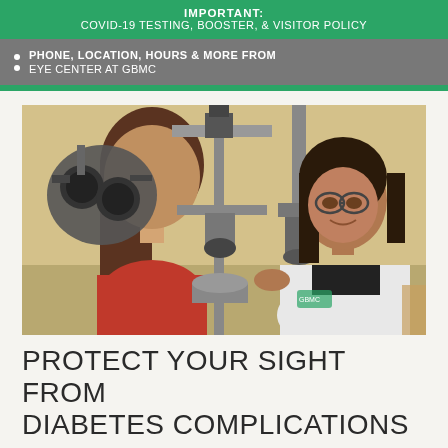IMPORTANT: COVID-19 TESTING, BOOSTER, & VISITOR POLICY
PHONE, LOCATION, HOURS & MORE FROM EYE CENTER AT GBMC
[Figure (photo): An eye doctor in a white lab coat examines a female patient sitting across from her using a slit lamp biomicroscope in a clinical exam room. Medical ophthalmic equipment is visible in the foreground.]
PROTECT YOUR SIGHT FROM DIABETES COMPLICATIONS